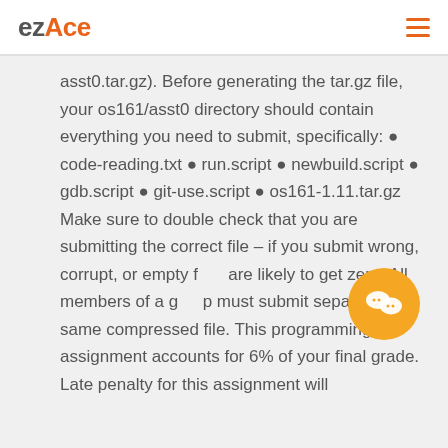ezAce
asst0.tar.gz). Before generating the tar.gz file, your os161/asst0 directory should contain everything you need to submit, specifically: • code-reading.txt • run.script • newbuild.script • gdb.script • git-use.script • os161-1.11.tar.gz Make sure to double check that you are submitting the correct file – if you submit wrong, corrupt, or empty files are likely to get zero. All members of a group must submit separately the same compressed file. This programming assignment accounts for 6% of your final grade. Late penalty for this assignment will be 15% for each day. Submission that...